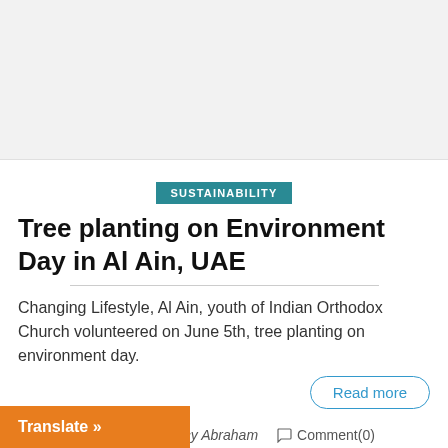[Figure (photo): Light gray placeholder image area at top of page]
SUSTAINABILITY
Tree planting on Environment Day in Al Ain, UAE
Changing Lifestyle, Al Ain, youth of Indian Orthodox Church volunteered on June 5th, tree planting on environment day.
Read more
June 14, 2021  Ancy Abraham  Comment(0)
Translate »